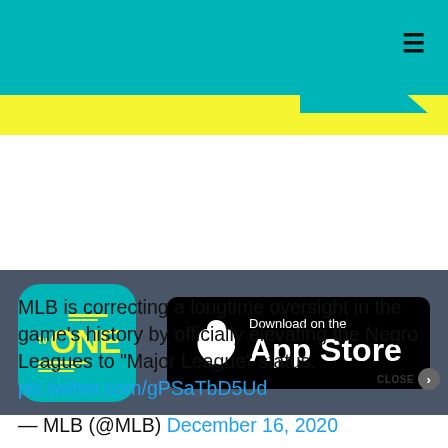[Figure (logo): TV ONE app logo on teal background with hamburger menu icon on yellow header]
[Figure (logo): Download on the App Store badge on dark banner with TV One logo]
MLB is correcting a longtime oversight in the game’s history by officially elevating the Negro Leagues to “Major League” status. pic.twitter.com/gPSaTbD5Ud
— MLB (@MLB) December 16, 2020
While the Negro Leagues took on different structures over the years, the MLB
recognizes 1920-1948 as its major league period. After 1948, the Negro Leagues faded